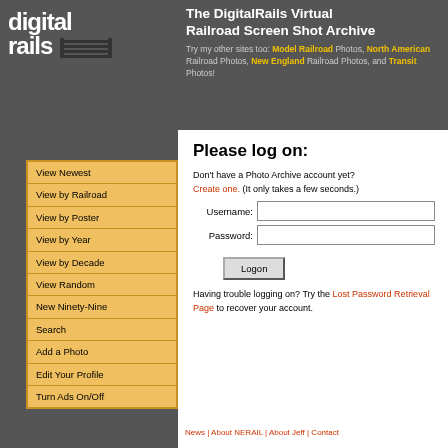[Figure (logo): DigitalRails logo with 'digital rails' text and railroad track graphic]
The DigitalRails Virtual Railroad Screen Shot Archive
Try my other sites too: Model Railroad Photos, North American Railroad Photos, New England Railroad Photos, and Transit Photos!
View Newest
View by Railroad
View by Poster
View by Year
View by Decade
View Random
New Ninety-Nine
Search
Add a Photo
Edit Your Profile
Turn Ads On/Off
Please log on:
Don't have a Photo Archive account yet? Create one. (It only takes a few seconds.)
Username:
Password:
Logon
Having trouble logging on? Try the Lost Password Retrieval Page to recover your account.
News | About NERAIL | About Jeff | Contact